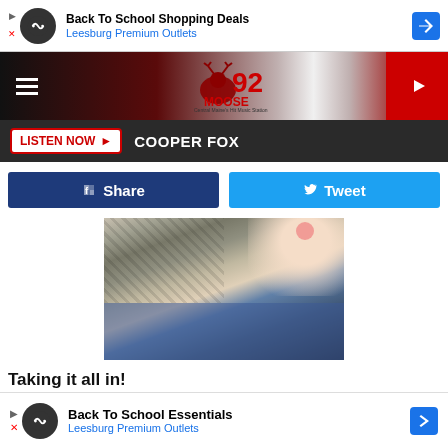[Figure (screenshot): Advertisement banner: Back To School Shopping Deals - Leesburg Premium Outlets]
[Figure (logo): 92 Moose radio station logo with moose graphic]
LISTEN NOW  COOPER FOX
[Figure (other): Facebook Share button and Twitter Tweet button]
[Figure (photo): Photo of a child in plaid shirt and jeans, holding a stuffed animal]
Taking it all in!
Evan was excited as his newest cousin was cooing at him on the co
[Figure (screenshot): Advertisement banner: Back To School Essentials - Leesburg Premium Outlets]